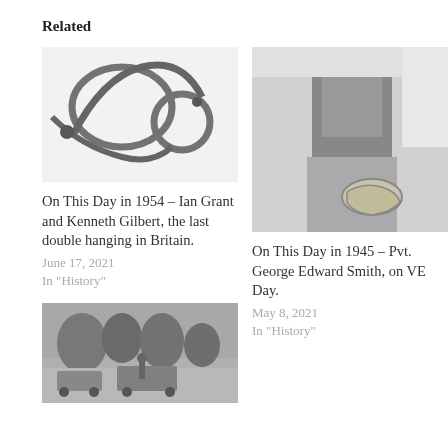Related
[Figure (photo): Black and white photo of rope coils arranged on a surface]
On This Day in 1954 – Ian Grant and Kenneth Gilbert, the last double hanging in Britain.
June 17, 2021
In "History"
[Figure (photo): Black and white photo of a person holding a rope]
On This Day in 1945 – Pvt. George Edward Smith, on VE Day.
May 8, 2021
In "History"
[Figure (photo): Black and white photo of a person standing near vehicles and trees]